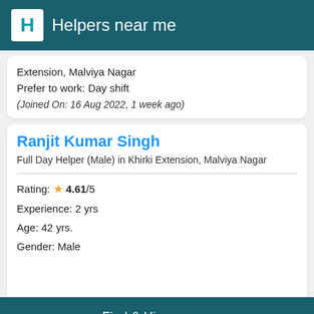Helpers near me
Extension, Malviya Nagar
Prefer to work: Day shift
(Joined On: 16 Aug 2022, 1 week ago)
Ranjit Kumar Singh
Full Day Helper (Male) in Khirki Extension, Malviya Nagar
Rating: ★ 4.61/5
Experience: 2 yrs
Age: 42 yrs.
Gender: Male
Find & Hire now →
Languages known: Hindi
Verified: Yes